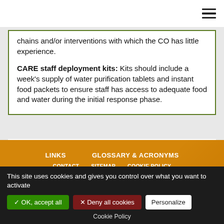chains and/or interventions with which the CO has little experience.
CARE staff deployment kits: Kits should include a week's supply of water purification tablets and instant food packets to ensure staff has access to adequate food and water during the initial response phase.
LINKS   GLOSSARY & ACRONYMS   CONTACT   SITEMAP   COOKIE POLICY
This site uses cookies and gives you control over what you want to activate
✓ OK, accept all   ✗ Deny all cookies   Personalize
Cookie Policy